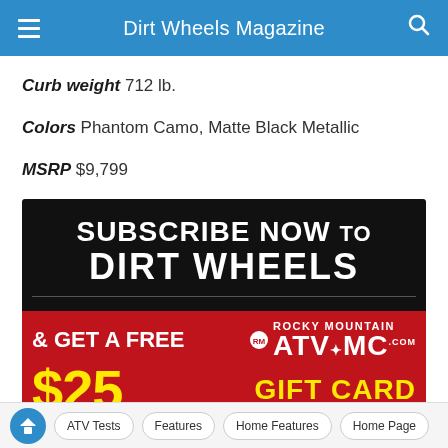Dirt Wheels Magazine
Curb weight 712 lb.
Colors Phantom Camo, Matte Black Metallic
MSRP $9,799
[Figure (infographic): Advertisement banner: 'Subscribe Now to Dirt Wheels & Get a Free $25 Rocky Mountain ATV MC Gift Card']
ATV Tests   Features   Home Features   Home Page